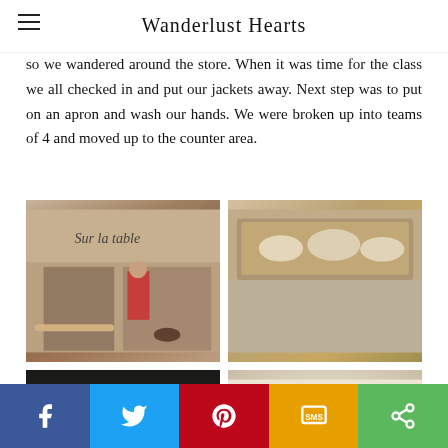Wanderlust Hearts
so we wandered around the store. When it was time for the class we all checked in and put our jackets away. Next step was to put on an apron and wash our hands. We were broken up into teams of 4 and moved up to the counter area.
[Figure (photo): Sur la table cooking class kitchen with instructor in red shirt, rolling pin and cooking tools on counter]
[Figure (photo): Close-up of baking tray with dough on metal counter surface]
[Figure (photo): Steamer basket and wok on stove in kitchen]
[Figure (photo): Finished dumplings on white plate]
f  Twitter  Pinterest  SMS  Share